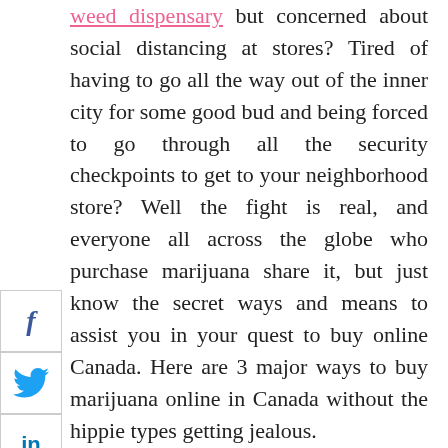weed dispensary but concerned about social distancing at stores? Tired of having to go all the way out of the inner city for some good bud and being forced to go through all the security checkpoints to get to your neighborhood store? Well the fight is real, and everyone all across the globe who purchase marijuana share it, but just know the secret ways and means to assist you in your quest to buy online Canada. Here are 3 major ways to buy marijuana online in Canada without the hippie types getting jealous.
BC Cannabis Stores.
Canadian suppliers and manufacturers have websites on the Internet. They are fully legit